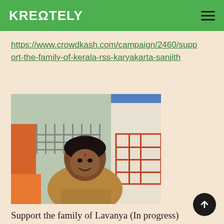KREΩTELY
https://www.crowdkash.com/campaign/2460/support-the-family-of-kerala-rss-karyakarta-sanjith
[Figure (photo): Photo of a young man wearing a brown patterned shirt, standing outdoors in front of a building with orange and white walls and metal railings. He has a bindi on his forehead and is smiling.]
Support the family of Lavanya (In progress) Rs 7.25 Lakhs (In progress)